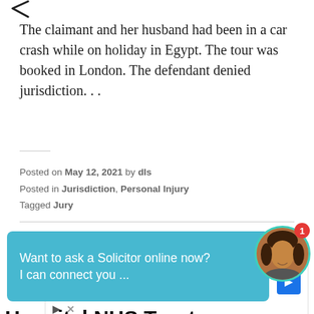The claimant and her husband had been in a car crash while on holiday in Egypt. The tour was booked in London. The defendant denied jurisdiction. . .
Posted on May 12, 2021 by dls
Posted in Jurisdiction, Personal Injury
Tagged Jury
[Figure (screenshot): Chat widget overlay with teal background reading 'Want to ask a Solicitor online now? I can connect you ...' with a circular avatar photo of a woman and a red notification badge showing '1']
Hospital NHS Trust:
[Figure (screenshot): Google advertisement for 'Brake Special Near You' featuring Virginia Tire & Auto of Ashburn with logo and blue directional arrow icon, plus ad controls (play and close buttons)]